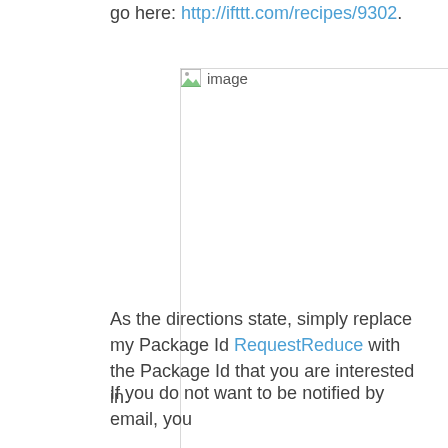go here: http://ifttt.com/recipes/9302.
[Figure (other): Broken/placeholder image thumbnail (image not loaded)]
As the directions state, simply replace my Package Id RequestReduce with the Package Id that you are interested in.
If you do not want to be notified by email, you have several different options. You could have it tweet from a specific account, send an SMS message or create an Evernote entry. And there are many more options than that.
I'd really like to hand it to the folks at @ifttt for